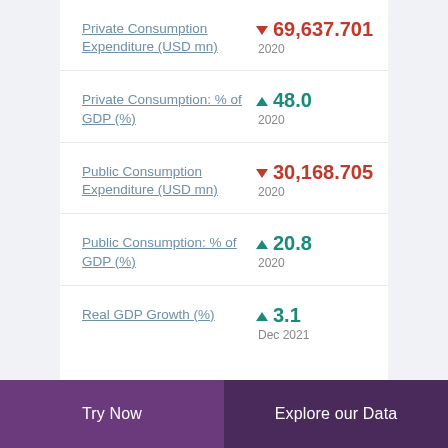Private Consumption Expenditure (USD mn) ▼ 69,637.701 2020
Private Consumption: % of GDP (%) ▲ 48.0 2020
Public Consumption Expenditure (USD mn) ▼ 30,168.705 2020
Public Consumption: % of GDP (%) ▲ 20.8 2020
Real GDP Growth (%) ▲ 3.1 Dec 2021
Try Now | Explore our Data